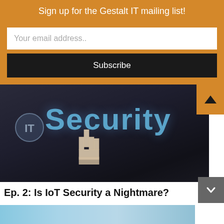Sign up for the Gestalt IT mailing list!
Your email address..
Subscribe
[Figure (photo): Dark screen displaying the word 'Security' in blue text with a hand cursor pointer icon, and a shield icon on the left side.]
Ep. 2: Is IoT Security a Nightmare?